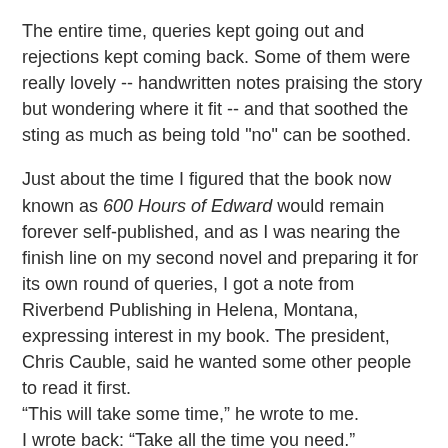The entire time, queries kept going out and rejections kept coming back. Some of them were really lovely -- handwritten notes praising the story but wondering where it fit -- and that soothed the sting as much as being told "no" can be soothed.
Just about the time I figured that the book now known as 600 Hours of Edward would remain forever self-published, and as I was nearing the finish line on my second novel and preparing it for its own round of queries, I got a note from Riverbend Publishing in Helena, Montana, expressing interest in my book. The president, Chris Cauble, said he wanted some other people to read it first.
“This will take some time,” he wrote to me.
I wrote back: “Take all the time you need.”
At this point, I really didn't think anything would come of it, and I had moved my hopes for being published to the new manuscript I was working on. I was wrong. More on that in the final installment.
~~~~~~~~~~~~~~~